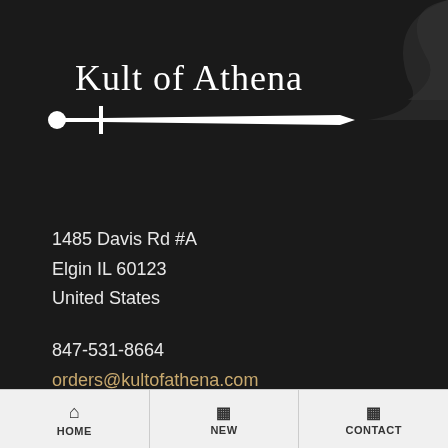[Figure (logo): Kult of Athena logo with sword graphic and serif text]
1485 Davis Rd #A
Elgin IL 60123
United States
847-531-8664
orders@kultofathena.com
Login  |  Wholesaler Login
HOME  NEW  CONTACT